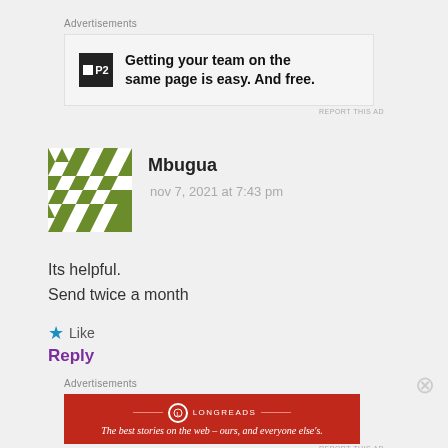Advertisements
[Figure (illustration): Advertisement banner for P2: 'Getting your team on the same page is easy. And free.' with P2 logo on left.]
REPORT THIS AD
[Figure (illustration): Avatar image for user Mbugua - green and white geometric quilt/diamond pattern]
Mbugua
nov 7, 2021 at 7:43 pm
Its helpful.
Send twice a month
Like
Reply
Advertisements
[Figure (illustration): Longreads advertisement: red background with Longreads logo and text 'The best stories on the web — ours, and everyone else's.']
REPORT THIS AD